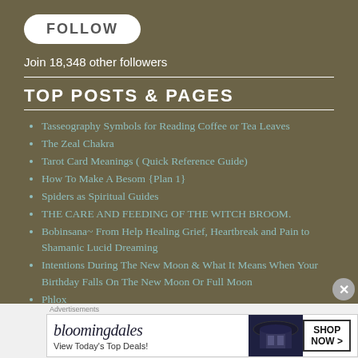[Figure (other): FOLLOW button — white rounded rectangle with bold dark text]
Join 18,348 other followers
TOP POSTS & PAGES
Tasseography Symbols for Reading Coffee or Tea Leaves
The Zeal Chakra
Tarot Card Meanings ( Quick Reference Guide)
How To Make A Besom {Plan 1}
Spiders as Spiritual Guides
THE CARE AND FEEDING OF THE WITCH BROOM.
Bobinsana~ From Help Healing Grief, Heartbreak and Pain to Shamanic Lucid Dreaming
Intentions During The New Moon & What It Means When Your Birthday Falls On The New Moon Or Full Moon
Phlox
About Us
[Figure (other): Bloomingdales advertisement banner: logo, 'View Today's Top Deals!', woman with hat, SHOP NOW button]